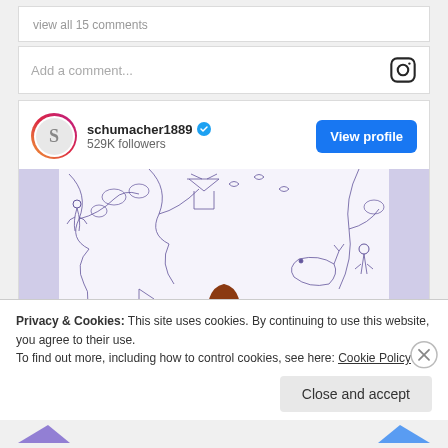view all 15 comments
Add a comment...
schumacher1889 ✓ 529K followers
View profile
[Figure (photo): Instagram post photo showing a person with red hair standing in front of a blue and white toile wallpaper with intricate scenic illustrations]
Privacy & Cookies: This site uses cookies. By continuing to use this website, you agree to their use.
To find out more, including how to control cookies, see here: Cookie Policy
Close and accept